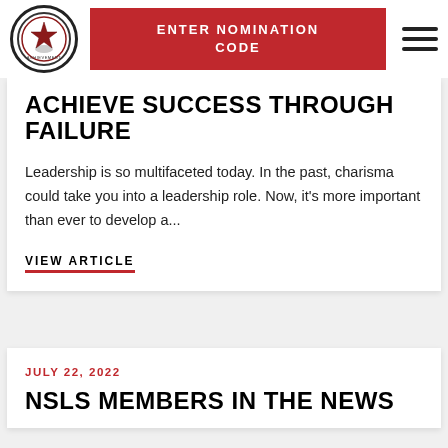ENTER NOMINATION CODE
ACHIEVE SUCCESS THROUGH FAILURE
Leadership is so multifaceted today. In the past, charisma could take you into a leadership role. Now, it's more important than ever to develop a...
VIEW ARTICLE
JULY 22, 2022
NSLS MEMBERS IN THE NEWS